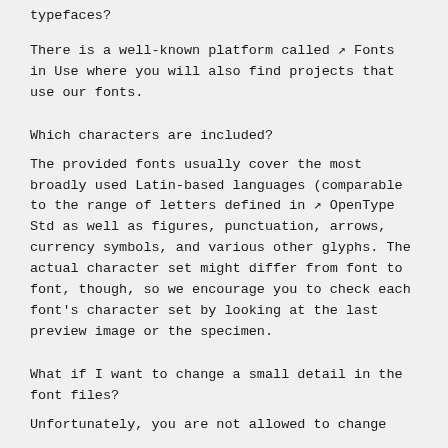typefaces?
There is a well-known platform called ↗ Fonts in Use where you will also find projects that use our fonts.
Which characters are included?
The provided fonts usually cover the most broadly used Latin-based languages (comparable to the range of letters defined in ↗ OpenType Std as well as figures, punctuation, arrows, currency symbols, and various other glyphs. The actual character set might differ from font to font, though, so we encourage you to check each font's character set by looking at the last preview image or the specimen.
What if I want to change a small detail in the font files?
Unfortunately, you are not allowed to change